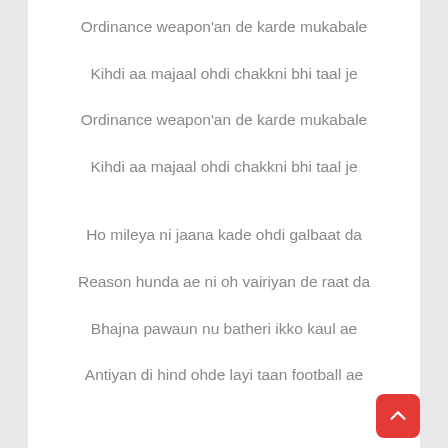Ordinance weapon'an de karde mukabale
Kihdi aa majaal ohdi chakkni bhi taal je
Ordinance weapon'an de karde mukabale
Kihdi aa majaal ohdi chakkni bhi taal je
Ho mileya ni jaana kade ohdi galbaat da
Reason hunda ae ni oh vairiyan de raat da
Bhajna pawaun nu batheri ikko kaul ae
Antiyan di hind ohde layi taan football ae